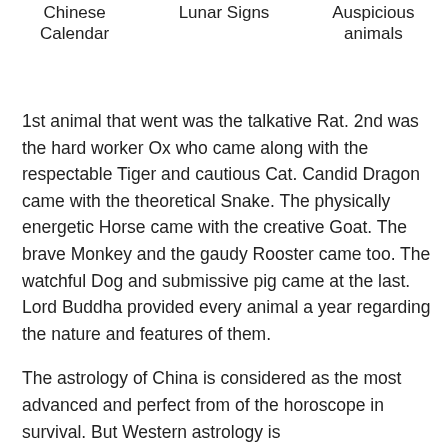Chinese Calendar   Lunar Signs   Auspicious animals
1st animal that went was the talkative Rat. 2nd was the hard worker Ox who came along with the respectable Tiger and cautious Cat. Candid Dragon came with the theoretical Snake. The physically energetic Horse came with the creative Goat. The brave Monkey and the gaudy Rooster came too. The watchful Dog and submissive pig came at the last. Lord Buddha provided every animal a year regarding the nature and features of them.
The astrology of China is considered as the most advanced and perfect from of the horoscope in survival. But Western astrology is